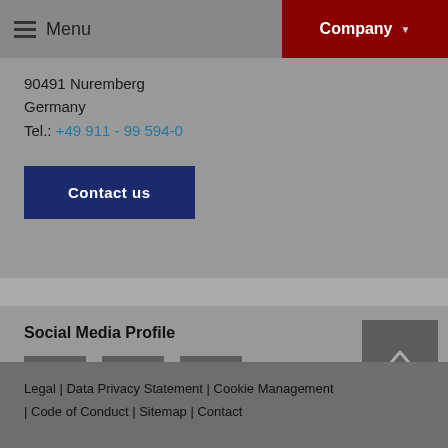Menu | Company
90491 Nuremberg
Germany
Tel.: +49 911 - 99 594-0
Contact us
Social Media Profile
[Figure (other): Social media icon buttons: Facebook (f), Xing (x), LinkedIn (in)]
Legal | Data Privacy Statement | Cookie Management | Code of Conduct | Sitemap | Contact